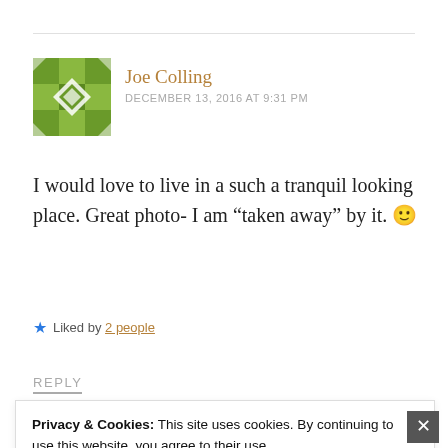[Figure (illustration): Green and white geometric/quilt-pattern avatar for user Joe Colling]
Joe Colling
DECEMBER 13, 2016 AT 9:31 PM
I would love to live in a such a tranquil looking place. Great photo- I am “taken away” by it. 🙂
★ Liked by 2 people
REPLY
Privacy & Cookies: This site uses cookies. By continuing to use this website, you agree to their use.
To find out more, including how to control cookies, see here:
Cookie Policy
Close and accept